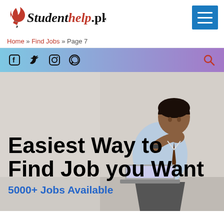Studenthelp.pk
Home » Find Jobs » Page 7
[Figure (illustration): Social media icons bar: Facebook, Twitter, Instagram, WhatsApp, and a search icon on a blue-to-purple gradient background]
[Figure (photo): Hero banner with a man sitting outdoors working on a laptop, with large bold text overlay reading 'Easiest Way to Find Job you Want' and subtitle '5000+ Jobs Available']
Easiest Way to Find Job you Want
5000+ Jobs Available